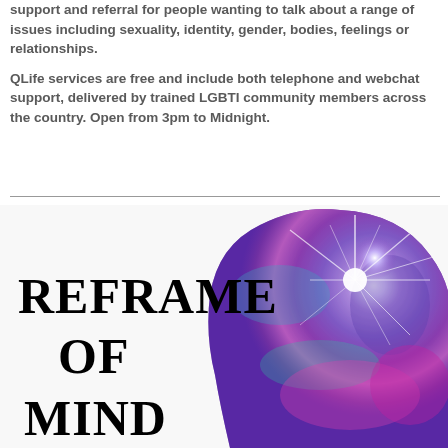support and referral for people wanting to talk about a range of issues including sexuality, identity, gender, bodies, feelings or relationships.
QLife services are free and include both telephone and webchat support, delivered by trained LGBTI community members across the country. Open from 3pm to Midnight.
[Figure (illustration): Illustration showing a human head silhouette in profile filled with a cosmic/galaxy image with a bright starburst light. Text overlaid reads REFRAME OF MIND in large serif bold black letters.]